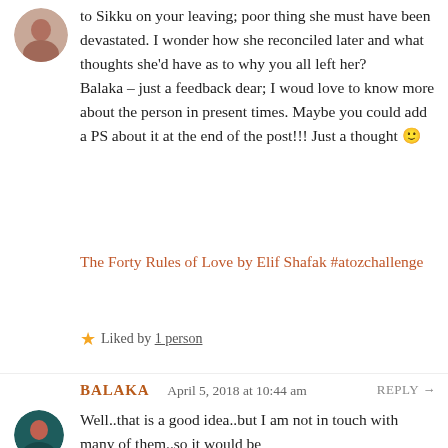[Figure (photo): Round avatar photo of a person, top-left corner]
to Sikku on your leaving; poor thing she must have been devastated. I wonder how she reconciled later and what thoughts she'd have as to why you all left her?
Balaka – just a feedback dear; I woud love to know more about the person in present times. Maybe you could add a PS about it at the end of the post!!! Just a thought 🙂
The Forty Rules of Love by Elif Shafak #atozchallenge
★ Liked by 1 person
BALAKA   April 5, 2018 at 10:44 am   REPLY →
[Figure (photo): Round avatar photo of Balaka]
Well..that is a good idea..but I am not in touch with many of them..so it would be